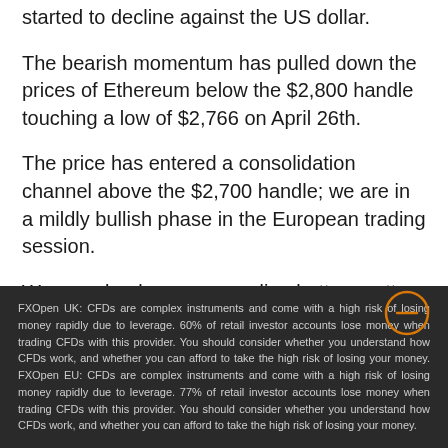started to decline against the US dollar.
The bearish momentum has pulled down the prices of Ethereum below the $2,800 handle touching a low of $2,766 on April 26th.
The price has entered a consolidation channel above the $2,700 handle; we are in a mildly bullish phase in the European trading session.
We can clearly see a rounding bottom pattern above the $2,700 handle, which is a bullish pattern signifying the end
FXOpen UK: CFDs are complex instruments and come with a high risk of losing money rapidly due to leverage. 60% of retail investor accounts lose money when trading CFDs with this provider. You should consider whether you understand how CFDs work, and whether you can afford to take the high risk of losing your money. FXOpen EU: CFDs are complex instruments and come with a high risk of losing money rapidly due to leverage. 77% of retail investor accounts lose money when trading CFDs with this provider. You should consider whether you understand how CFDs work, and whether you can afford to take the high risk of losing your money.